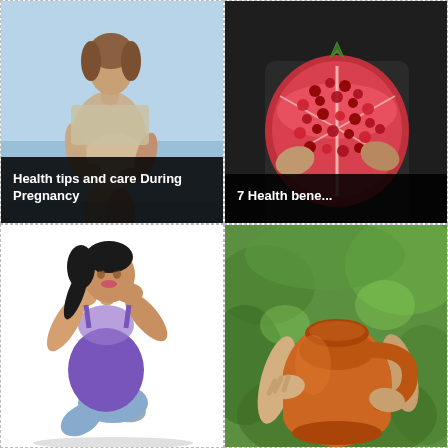[Figure (photo): Pregnant woman holding her belly outdoors near water, wearing a beige top]
Health tips and care During Pregnancy
[Figure (photo): Person in dark clothing holding a halved pomegranate showing red seeds]
7 Health bene...
[Figure (photo): Woman in purple top doing sit-up exercise on white background]
[Figure (photo): Person holding a large orange clay/terracotta pot outdoors with green foliage in background]